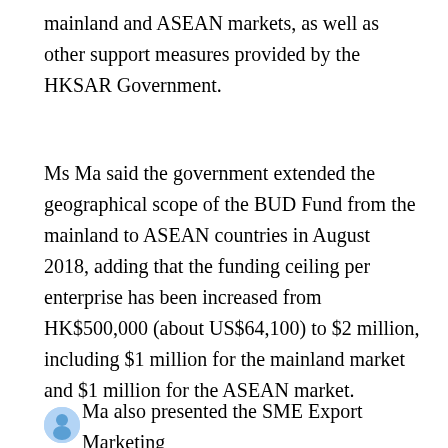mainland and ASEAN markets, as well as other support measures provided by the HKSAR Government.
Ms Ma said the government extended the geographical scope of the BUD Fund from the mainland to ASEAN countries in August 2018, adding that the funding ceiling per enterprise has been increased from HK$500,000 (about US$64,100) to $2 million, including $1 million for the mainland market and $1 million for the ASEAN market.
Ms Ma also presented the SME Export Marketing